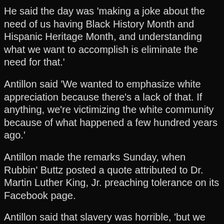He said the day was 'making a joke about the need of us having Black History Month and Hispanic Heritage Month, and understanding what we want to accomplish is eliminate the need for that.'
Antillon said 'We wanted to emphasize white appreciation because there's a lack of that. If anything, we're victimizing the white community because of what happened a few hundred years ago.'
Antillon made the remarks Sunday, when Rubbin' Buttz posted a quote attributed to Dr. Martin Luther King, Jr. preaching tolerance on its Facebook page.
Antillon said that slavery was horrible, 'but we have to move past that.'
'Is there still racism? Absolutely,' he said.
He also revealed the restaurant was forced to evacuate Friday because of a bomb threat.